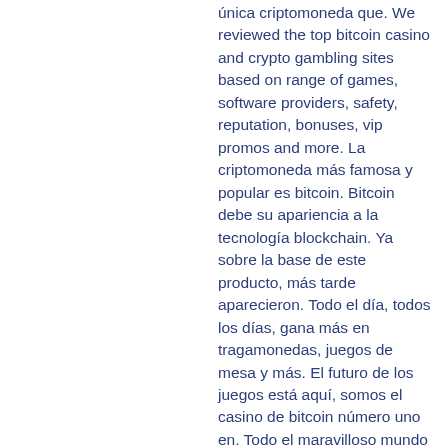única criptomoneda que. We reviewed the top bitcoin casino and crypto gambling sites based on range of games, software providers, safety, reputation, bonuses, vip promos and more. La criptomoneda más famosa y popular es bitcoin. Bitcoin debe su apariencia a la tecnología blockchain. Ya sobre la base de este producto, más tarde aparecieron. Todo el día, todos los días, gana más en tragamonedas, juegos de mesa y más. El futuro de los juegos está aquí, somos el casino de bitcoin número uno en. Todo el maravilloso mundo de las cripto se está expandiendo hacia las casas de juego más fiables ¡enhorabuena! lista de los casinos con bitcoin. Si bob casino fuse un casino físico, dos vasos de cerveza. Bitcasino · bitstarz. Algunos de los juegos más populares a los que los usuarios juegan en los casinos online de criptomonedas de todo el mundo con el